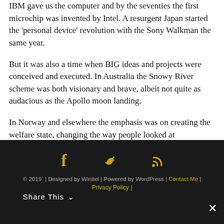IBM gave us the computer and by the seventies the first microchip was invented by Intel. A resurgent Japan started the 'personal device' revolution with the Sony Walkman the same year.
But it was also a time when BIG ideas and projects were conceived and executed. In Australia the Snowy River scheme was both visionary and brave, albeit not quite as audacious as the Apollo moon landing.
In Norway and elsewhere the emphasis was on creating the welfare state, changing the way people looked at government: from a provider of security and services nobody else would do, to the idea of a cradle to grave safety net encompassing
[Figure (other): Social media icons: Facebook (f), Twitter (bird), RSS feed icon, displayed in gold/yellow color on dark background]
© 2019` | Designed by Winitel | Powered by WordPress | Contact Me | Privacy Policy | Share This ∨